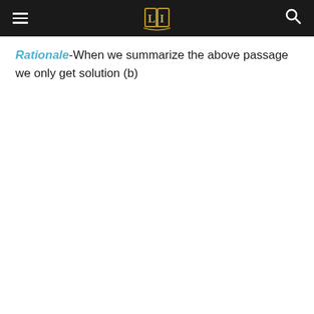[Navigation header with hamburger menu, logo, and search icon]
Rationale-When we summarize the above passage we only get solution (b)